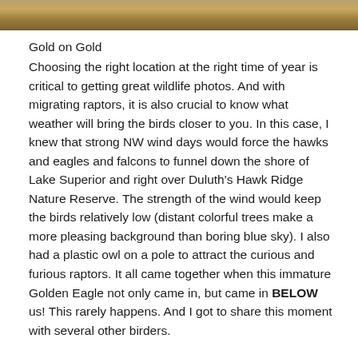[Figure (photo): Partial view of a wildlife/nature photograph showing warm golden and brown tones at the top of the page]
Gold on Gold
Choosing the right location at the right time of year is critical to getting great wildlife photos. And with migrating raptors, it is also crucial to know what weather will bring the birds closer to you. In this case, I knew that strong NW wind days would force the hawks and eagles and falcons to funnel down the shore of Lake Superior and right over Duluth's Hawk Ridge Nature Reserve. The strength of the wind would keep the birds relatively low (distant colorful trees make a more pleasing background than boring blue sky). I also had a plastic owl on a pole to attract the curious and furious raptors. It all came together when this immature Golden Eagle not only came in, but came in BELOW us! This rarely happens. And I got to share this moment with several other birders.